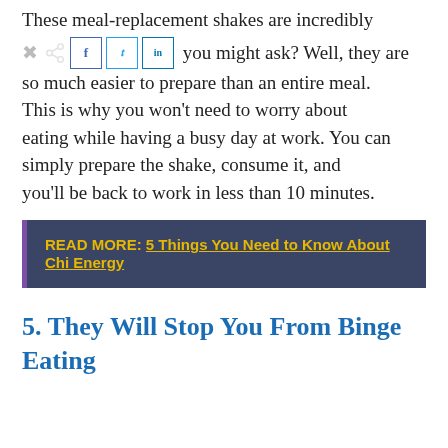These meal-replacement shakes are incredibly convenient, you might ask? Well, they are so much easier to prepare than an entire meal. This is why you won't need to worry about eating while having a busy day at work. You can simply prepare the shake, consume it, and you'll be back to work in less than 10 minutes.
READ MORE: 5 Things You Need to Know About Chi Energy
5. They Will Stop You From Binge Eating